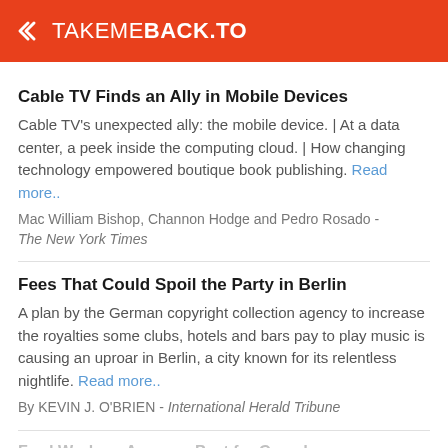TAKEMEBACK.TO
Cable TV Finds an Ally in Mobile Devices
Cable TV's unexpected ally: the mobile device. | At a data center, a peek inside the computing cloud. | How changing technology empowered boutique book publishing. Read more..
Mac William Bishop, Channon Hodge and Pedro Rosado - The New York Times
Fees That Could Spoil the Party in Berlin
A plan by the German copyright collection agency to increase the royalties some clubs, hotels and bars pay to play music is causing an uproar in Berlin, a city known for its relentless nightlife. Read more..
By KEVIN J. O'BRIEN - International Herald Tribune
Ford Workers Approve Pact for Canada
Canadian Auto Workers union at Ford votes to accept a